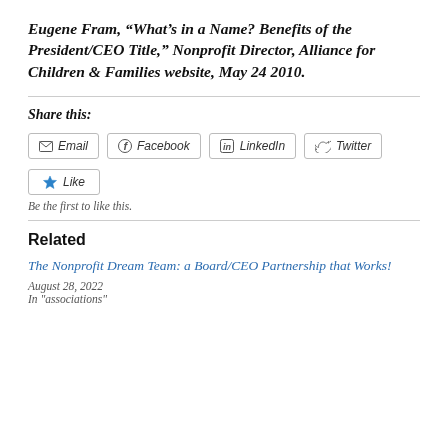Eugene Fram, “What’s in a Name? Benefits of the President/CEO Title,” Nonprofit Director, Alliance for Children & Families website, May 24 2010.
Share this:
[Figure (infographic): Social share buttons: Email, Facebook, LinkedIn, Twitter]
[Figure (infographic): Like button with star icon]
Be the first to like this.
Related
The Nonprofit Dream Team: a Board/CEO Partnership that Works!
August 28, 2022
In "associations"